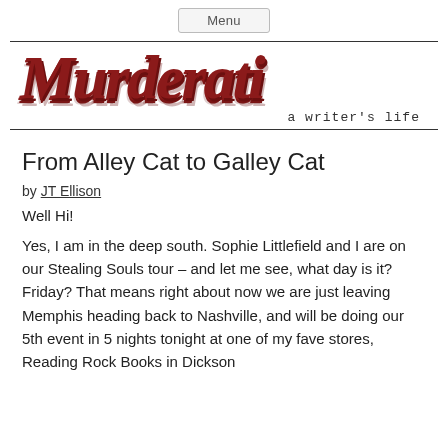Menu
[Figure (logo): Murderati logo — large stylized blood-dripping text reading 'MURDERATI' in dark red/brown with tagline 'a writer's life' in monospace below right]
From Alley Cat to Galley Cat
by JT Ellison
Well Hi!
Yes, I am in the deep south. Sophie Littlefield and I are on our Stealing Souls tour – and let me see, what day is it? Friday? That means right about now we are just leaving Memphis heading back to Nashville, and will be doing our 5th event in 5 nights tonight at one of my fave stores, Reading Rock Books in Dickson